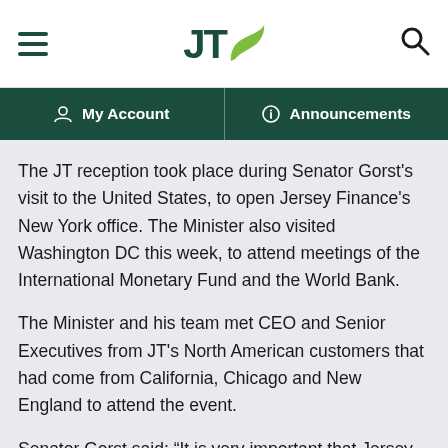JT — My Account | Announcements
The JT reception took place during Senator Gorst's visit to the United States, to open Jersey Finance's New York office. The Minister also visited Washington DC this week, to attend meetings of the International Monetary Fund and the World Bank.
The Minister and his team met CEO and Senior Executives from JT's North American customers that had come from California, Chicago and New England to attend the event.
Senator Gorst said: “It is very important that Jersey fully supports the expansion of island businesses beyond our own shores. At home, JT is well-known for delivering the world’s first countrywide full-fiber network that currently delivers the